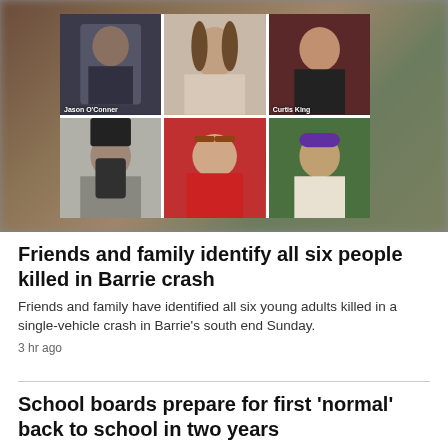[Figure (photo): Photo collage of six young adults killed in Barrie crash. Top row: Jason O'Conner (man in black t-shirt), unnamed woman (brown hair, white top), Curtis King (man in black hat and black t-shirt). Bottom row: man in black baseball cap holding phone, woman with red glasses and red shirt, man with bandana outdoors.]
Friends and family identify all six people killed in Barrie crash
Friends and family have identified all six young adults killed in a single-vehicle crash in Barrie's south end Sunday.
3 hr ago
School boards prepare for first 'normal' back to school in two years